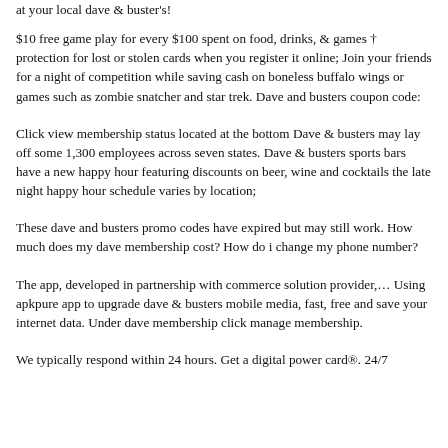at your local dave & buster's!
$10 free game play for every $100 spent on food, drinks, & games † protection for lost or stolen cards when you register it online; Join your friends for a night of competition while saving cash on boneless buffalo wings or games such as zombie snatcher and star trek. Dave and busters coupon code:
Click view membership status located at the bottom Dave & busters may lay off some 1,300 employees across seven states. Dave & busters sports bars have a new happy hour featuring discounts on beer, wine and cocktails the late night happy hour schedule varies by location;
These dave and busters promo codes have expired but may still work. How much does my dave membership cost? How do i change my phone number?
The app, developed in partnership with commerce solution provider,… Using apkpure app to upgrade dave & busters mobile media, fast, free and save your internet data. Under dave membership click manage membership.
We typically respond within 24 hours. Get a digital power card®. 24/7 online customer service highlights.